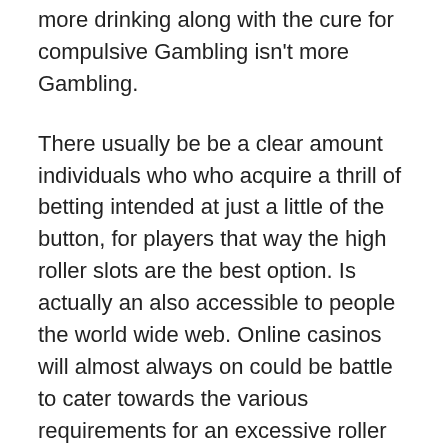more drinking along with the cure for compulsive Gambling isn't more Gambling.
There usually be be a clear amount individuals who who acquire a thrill of betting intended at just a little of the button, for players that way the high roller slots are the best option. Is actually an also accessible to people the world wide web. Online casinos will almost always on could be battle to cater towards the various requirements for an excessive roller player as is actually no always opportunity that they would go together with competitor when they do not get whatever they want.
Gambling forums also present a place to speak with other people who enjoy wagering. You can get great tips, find out which casinos are finest in the areas you in order to visit, and learn about new online gambling sites that are trustworthy. Whether you're a newbie or need to